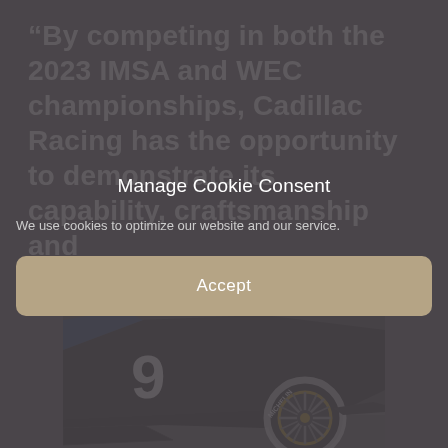“By competing in both the 2023 IMSA and WEC championships, Cadillac Racing has the opportunity to demonstrate its capability, craftsmanship and
Manage Cookie Consent
We use cookies to optimize our website and our service.
Accept
[Figure (photo): Close-up photo of a black Cadillac racing car showing the number 9 on its side and a Michelin tire with gold and dark multi-spoke wheel, on a racing track surface.]